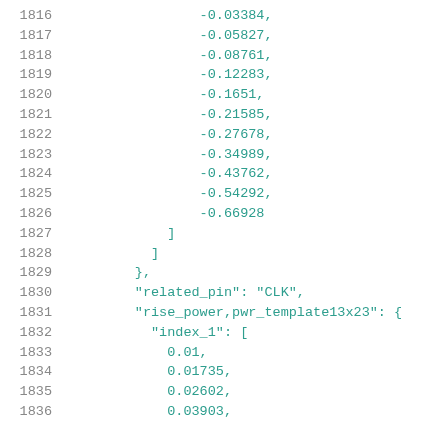1816    -0.03384,
1817    -0.05827,
1818    -0.08761,
1819    -0.12283,
1820    -0.1651,
1821    -0.21585,
1822    -0.27678,
1823    -0.34989,
1824    -0.43762,
1825    -0.54292,
1826    -0.66928
1827        ]
1828      ]
1829    },
1830    "related_pin": "CLK",
1831    "rise_power,pwr_template13x23": {
1832      "index_1": [
1833        0.01,
1834        0.01735,
1835        0.02602,
1836        0.03903,